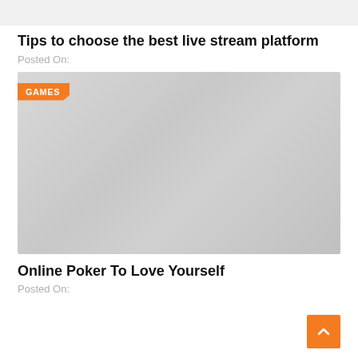[Figure (other): Gray placeholder bar at top of page]
Tips to choose the best live stream platform
Posted On:
[Figure (photo): Gray placeholder image with orange GAMES badge label in top left corner]
Online Poker To Love Yourself
Posted On: